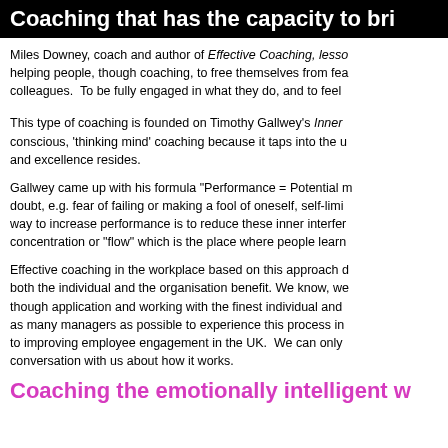Coaching that has the capacity to bri…
Miles Downey, coach and author of Effective Coaching, lesso… helping people, though coaching, to free themselves from fea… colleagues.  To be fully engaged in what they do, and to feel…
This type of coaching is founded on Timothy Gallwey’s Inner… conscious, ‘thinking mind’ coaching because it taps into the u… and excellence resides.
Gallwey came up with his formula "Performance = Potential m… doubt, e.g. fear of failing or making a fool of oneself, self-limi… way to increase performance is to reduce these inner interfer… concentration or "flow" which is the place where people learn…
Effective coaching in the workplace based on this approach d… both the individual and the organisation benefit. We know, we… though application and working with the finest individual and… as many managers as possible to experience this process in… to improving employee engagement in the UK.  We can only… conversation with us about how it works.
Coaching the emotionally intelligent w…